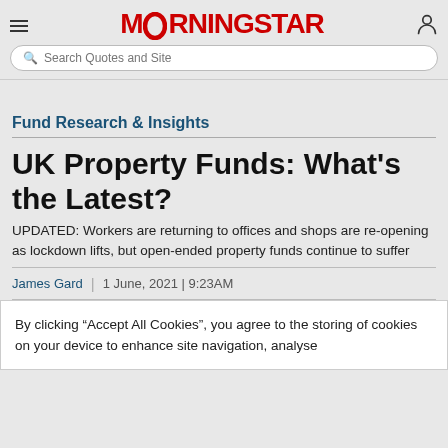MORNINGSTAR — Search Quotes and Site
Fund Research & Insights
UK Property Funds: What's the Latest?
UPDATED: Workers are returning to offices and shops are re-opening as lockdown lifts, but open-ended property funds continue to suffer
James Gard | 1 June, 2021 | 9:23AM
By clicking “Accept All Cookies”, you agree to the storing of cookies on your device to enhance site navigation, analyse